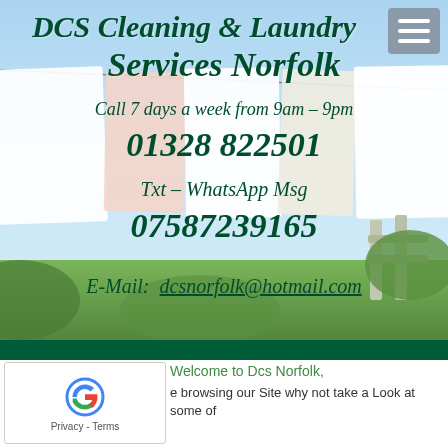DCS Cleaning & Laundry Services Norfolk
Call 7 days a week from 9am – 9pm
01328 822501
Txt – WhatsApp Msg
07587239165
E-Mail:  dcsnorfolk@hotmail.com
[Figure (photo): Background photo of white laundry sheets hanging on a clothesline against a blue sky with green countryside. Decorative image for DCS Cleaning & Laundry Services Norfolk website header.]
Welcome to Dcs Norfolk,
e browsing our Site why not take a Look at some of